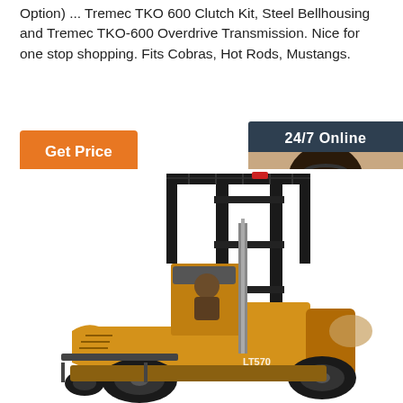Option) ... Tremec TKO 600 Clutch Kit, Steel Bellhousing and Tremec TKO-600 Overdrive Transmission. Nice for one stop shopping. Fits Cobras, Hot Rods, Mustangs.
Get Price
24/7 Online
[Figure (photo): Customer service representative woman with headset smiling]
Click here for free chat !
QUOTATION
[Figure (photo): Yellow LT570 forklift truck on white background]